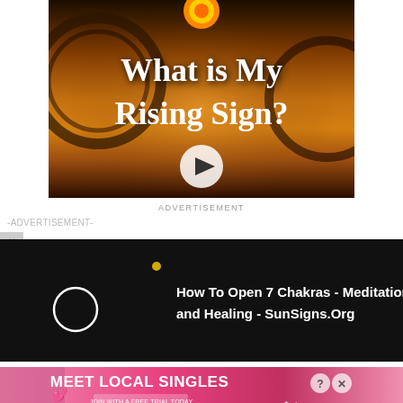[Figure (screenshot): Promotional banner image with mystical background showing gears and golden desert sky. Text reads 'What is My Rising Sign?' with a play button circle.]
ADVERTISEMENT
-ADVERTISEMENT-
[Figure (screenshot): Dark/black video player bar showing 'How To Open 7 Chakras - Meditation and Healing - SunSigns.Org' with a circular icon on the left and a gold dot.]
730 sp... who can en... e pain to ear... ss by
[Figure (screenshot): Pink/red advertisement banner reading 'MEET LOCAL SINGLES' with a woman photo on the left, subtitle 'JOIN WITH A FREE TRIAL TODAY', Clover logo, and close/help icons.]